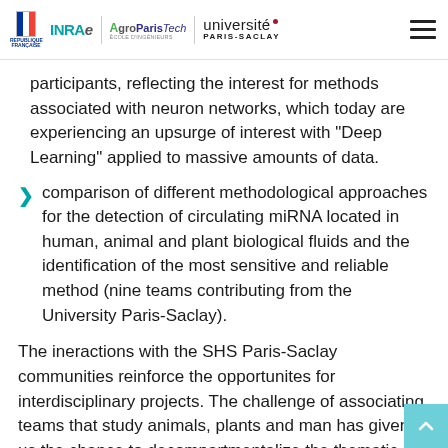République Française | INRAE | AgroParisTech | Université Paris-Saclay
participants, reflecting the interest for methods associated with neuron networks, which today are experiencing an upsurge of interest with "Deep Learning" applied to massive amounts of data.
comparison of different methodological approaches for the detection of circulating miRNA located in human, animal and plant biological fluids and the identification of the most sensitive and reliable method (nine teams contributing from the University Paris-Saclay).
The ineractions with the SHS Paris-Saclay communities reinforce the opportunites for interdisciplinary projects. The challenge of associating teams that study animals, plants and man has given us the chance to decompartmentalize the thematic silos, in particular on